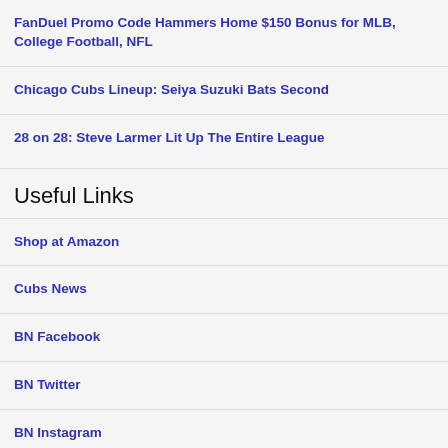FanDuel Promo Code Hammers Home $150 Bonus for MLB, College Football, NFL
Chicago Cubs Lineup: Seiya Suzuki Bats Second
28 on 28: Steve Larmer Lit Up The Entire League
Useful Links
Shop at Amazon
Cubs News
BN Facebook
BN Twitter
BN Instagram
Chicago Bulls